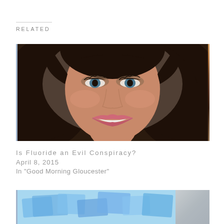RELATED
[Figure (photo): Close-up photo of a young woman with dark curly hair, blue eyes, and a wide smile, wearing pink lipstick. Photo has a blue left border.]
Is Fluoride an Evil Conspiracy?
April 8, 2015
In "Good Morning Gloucester"
[Figure (photo): Partial photo of what appears to be blue-tinted computer or office equipment, with a gray section on the right side.]